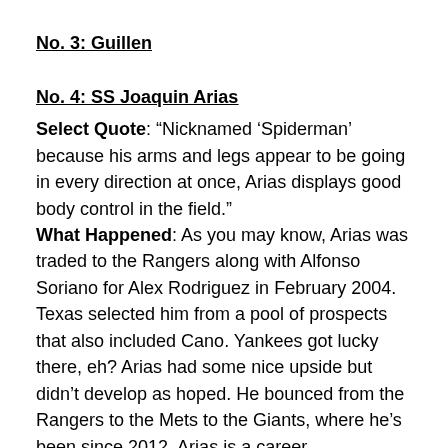No. 3: Guillen
No. 4: SS Joaquin Arias
Select Quote: “Nicknamed ‘Spiderman’ because his arms and legs appear to be going in every direction at once, Arias displays good body control in the field.”
What Happened: As you may know, Arias was traded to the Rangers along with Alfonso Soriano for Alex Rodriguez in February 2004. Texas selected him from a pool of prospects that also included Cano. Yankees got lucky there, eh? Arias had some nice upside but didn’t develop as hoped. He bounced from the Rangers to the Mets to the Giants, where he’s been since 2012. Arias is a career .269/.298/.354 (82 OPS+) hitter with 0.9